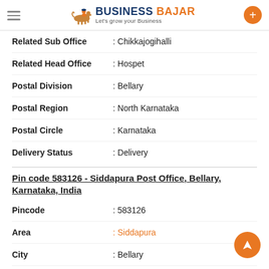BUSINESS BAJAR - Let's grow your Business
Related Sub Office : Chikkajogihalli
Related Head Office : Hospet
Postal Division : Bellary
Postal Region : North Karnataka
Postal Circle : Karnataka
Delivery Status : Delivery
Pin code 583126 - Siddapura Post Office, Bellary, Karnataka, India
Pincode : 583126
Area : Siddapura
City : Bellary
State : Karnataka